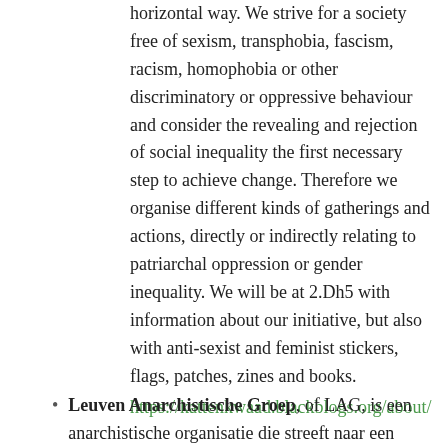horizontal way. We strive for a society free of sexism, transphobia, fascism, racism, homophobia or other discriminatory or oppressive behaviour and consider the revealing and rejection of social inequality the first necessary step to achieve change. Therefore we organise different kinds of gatherings and actions, directly or indirectly relating to patriarchal oppression or gender inequality. We will be at 2.Dh5 with information about our initiative, but also with anti-sexist and feminist stickers, flags, patches, zines and books.
https://kattenkwaad.blackblogs.org/about/
Leuven Anarchistische Groep, of LAG, is een anarchistische organisatie die streeft naar een